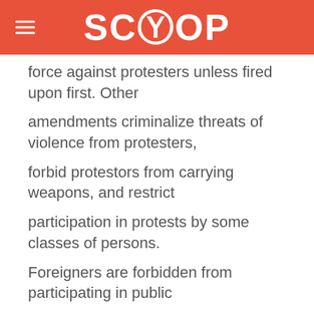SCOOP
force against protesters unless fired upon first. Other amendments criminalize threats of violence from protesters, forbid protestors from carrying weapons, and restrict participation in protests by some classes of persons. Foreigners are forbidden from participating in public demonstrations except those pertaining to international issues. Members of the army, police and intelligence service may not participate in protests. 5. (SBU) The Lower House passed a bill on political parties with two amendments that will raise the bar for